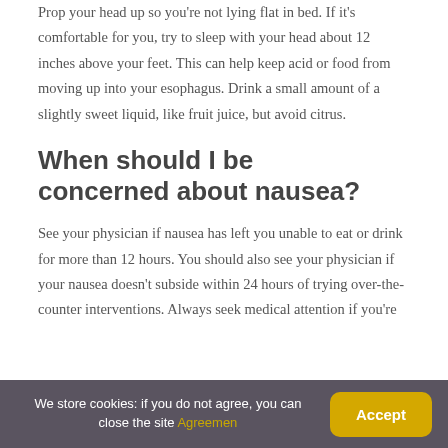Prop your head up so you're not lying flat in bed. If it's comfortable for you, try to sleep with your head about 12 inches above your feet. This can help keep acid or food from moving up into your esophagus. Drink a small amount of a slightly sweet liquid, like fruit juice, but avoid citrus.
When should I be concerned about nausea?
See your physician if nausea has left you unable to eat or drink for more than 12 hours. You should also see your physician if your nausea doesn't subside within 24 hours of trying over-the-counter interventions. Always seek medical attention if you're
We store cookies: if you do not agree, you can close the site Agreemen